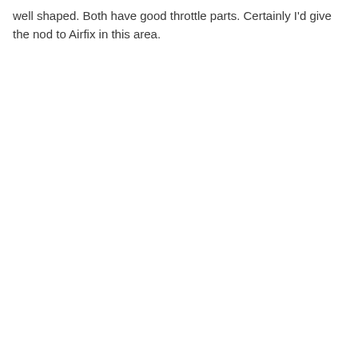well shaped. Both have good throttle parts. Certainly I'd give the nod to Airfix in this area.